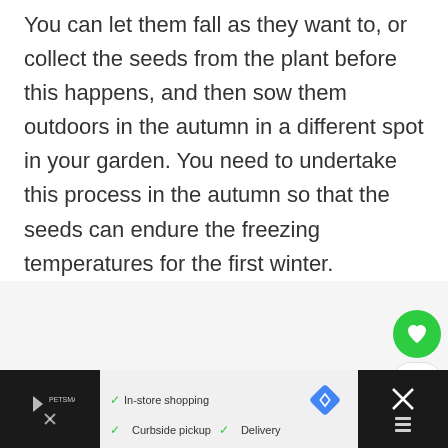You can let them fall as they want to, or collect the seeds from the plant before this happens, and then sow them outdoors in the autumn in a different spot in your garden. You need to undertake this process in the autumn so that the seeds can endure the freezing temperatures for the first winter.
[Figure (other): Floating action buttons: green heart/like button, count showing '1', and a share button with social sharing icon]
[Figure (other): Advertisement banner at bottom with black sections on left and right, center showing checkmarks for 'In-store shopping', 'Curbside pickup', 'Delivery' with a blue diamond navigation icon]